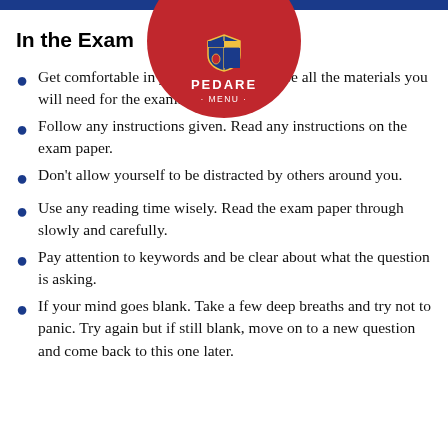[Figure (logo): Pedare school logo — circular red badge with blue and gold shield emblem, text 'PEDARE' and '· MENU ·' in white]
In the Exam
Get comfortable in your seat and organise all the materials you will need for the exam.
Follow any instructions given. Read any instructions on the exam paper.
Don't allow yourself to be distracted by others around you.
Use any reading time wisely. Read the exam paper through slowly and carefully.
Pay attention to keywords and be clear about what the question is asking.
If your mind goes blank. Take a few deep breaths and try not to panic. Try again but if still blank, move on to a new question and come back to this one later.